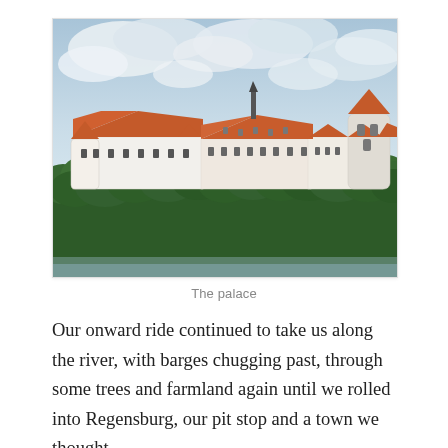[Figure (photo): A large white European palace or castle with orange/terracotta roofs, including a tall round tower on the right. The building sits atop a hill or embankment surrounded by dense green trees. The sky above is partly cloudy with blue patches. The palace extends horizontally across the frame with multiple wings and conical roof turrets.]
The palace
Our onward ride continued to take us along the river, with barges chugging past, through some trees and farmland again until we rolled into Regensburg, our pit stop and a town we thought